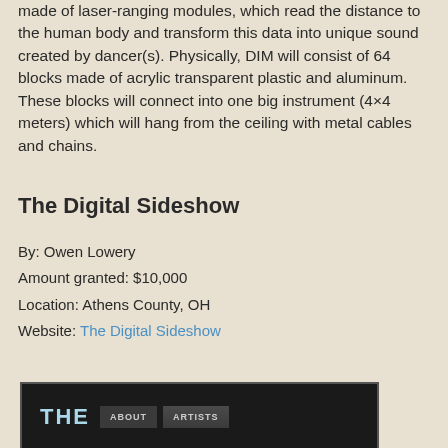made of laser-ranging modules, which read the distance to the human body and transform this data into unique sound created by dancer(s). Physically, DIM will consist of 64 blocks made of acrylic transparent plastic and aluminum. These blocks will connect into one big instrument (4×4 meters) which will hang from the ceiling with metal cables and chains.
The Digital Sideshow
By: Owen Lowery
Amount granted: $10,000
Location: Athens County, OH
Website: The Digital Sideshow
[Figure (screenshot): Screenshot of The Digital Sideshow website header showing dark background with 'THE' in light blue text and navigation buttons 'ABOUT' and 'ARTISTS']